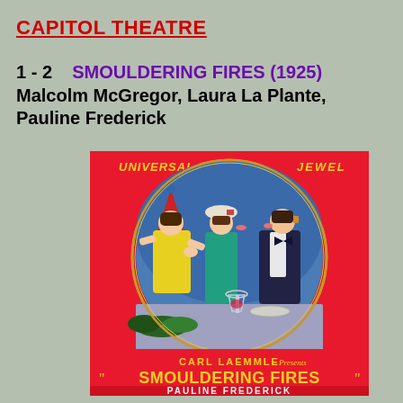CAPITOL THEATRE
1 - 2    SMOULDERING FIRES (1925) Malcolm McGregor, Laura La Plante, Pauline Frederick
[Figure (photo): Movie poster for 'Smouldering Fires' (1925), a Universal Jewel production. The poster features a large red background with a circular illustration showing three figures in costume at a table — a woman in yellow with a pointed hat looking down sadly, a woman in teal kissing a man in a tuxedo. Text reads: CARL LAEMMLE Presents SMOULDERING FIRES PAULINE FREDERICK. Universal and Jewel logos appear at top.]